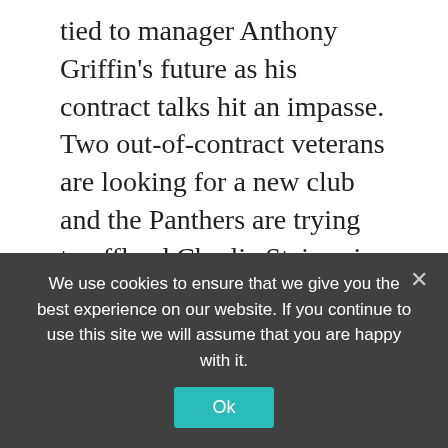tied to manager Anthony Griffin's future as his contract talks hit an impasse. Two out-of-contract veterans are looking for a new club and the Panthers are trying to offload Charlie Staines in a bid to free up space to re-sign Liam Martin … Read more
Sports
Anthony Griffin, Australia, Australia and New Zealand, Ben Hunt, bold call, brian, Brisbane, BRONCOS ESCAPE, Cameron Ciraldo, Cameron Munster, Charlie Staines
We use cookies to ensure that we give you the best experience on our website. If you continue to use this site we will assume that you are happy with it. Ok